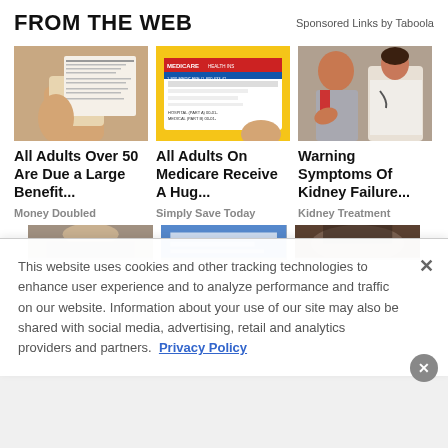FROM THE WEB
Sponsored Links by Taboola
[Figure (screenshot): Hand holding a government benefits check document]
All Adults Over 50 Are Due a Large Benefit...
Money Doubled
[Figure (screenshot): Medicare health insurance card on yellow background]
All Adults On Medicare Receive A Hug...
Simply Save Today
[Figure (photo): Doctor examining patient's back, kidney area]
Warning Symptoms Of Kidney Failure...
Kidney Treatment
This website uses cookies and other tracking technologies to enhance user experience and to analyze performance and traffic on our website. Information about your use of our site may also be shared with social media, advertising, retail and analytics providers and partners.  Privacy Policy